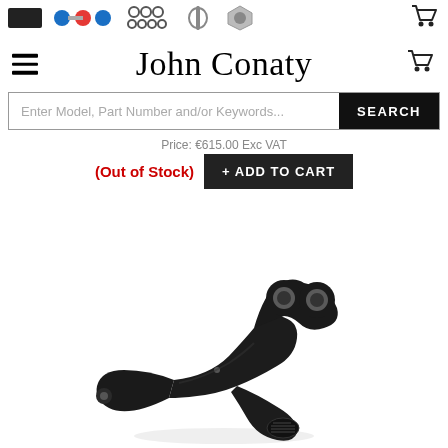John Conaty - product page header with navigation thumbnails
John Conaty
Enter Model, Part Number and/or Keywords... SEARCH
Price: €615.00 Exc VAT
(Out of Stock) + ADD TO CART
[Figure (photo): Black metal rocker arm / mechanical linkage component with threaded hole and two circular eyelets at the top, photographed on white background]